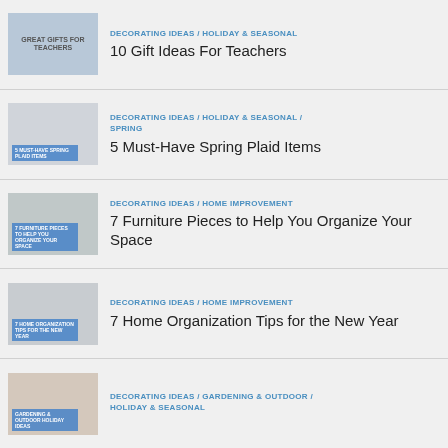DECORATING IDEAS / HOLIDAY & SEASONAL — 10 Gift Ideas For Teachers
DECORATING IDEAS / HOLIDAY & SEASONAL / SPRING — 5 Must-Have Spring Plaid Items
DECORATING IDEAS / HOME IMPROVEMENT — 7 Furniture Pieces to Help You Organize Your Space
DECORATING IDEAS / HOME IMPROVEMENT — 7 Home Organization Tips for the New Year
DECORATING IDEAS / GARDENING & OUTDOOR / HOLIDAY & SEASONAL